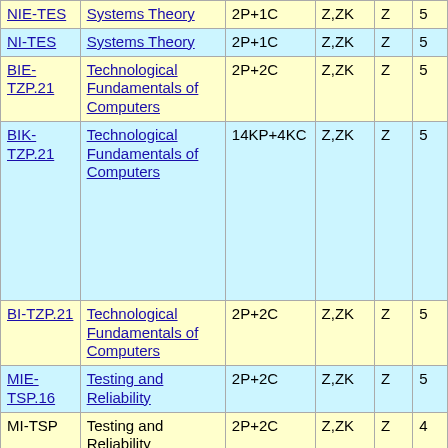| Code | Name | Hours | Form | Grade | Credits |
| --- | --- | --- | --- | --- | --- |
| NIE-TES | Systems Theory | 2P+1C | Z,ZK | Z | 5 |
| NI-TES | Systems Theory | 2P+1C | Z,ZK | Z | 5 |
| BIE-TZP.21 | Technological Fundamentals of Computers | 2P+2C | Z,ZK | Z | 5 |
| BIK-TZP.21 | Technological Fundamentals of Computers | 14KP+4KC | Z,ZK | Z | 5 |
| BI-TZP.21 | Technological Fundamentals of Computers | 2P+2C | Z,ZK | Z | 5 |
| MIE-TSP.16 | Testing and Reliability | 2P+2C | Z,ZK | Z | 5 |
| MI-TSP | Testing and Reliability | 2P+2C | Z,ZK | Z | 4 |
| MI- | Testing and | 2P+2C | Z,ZK | Z | 5 |